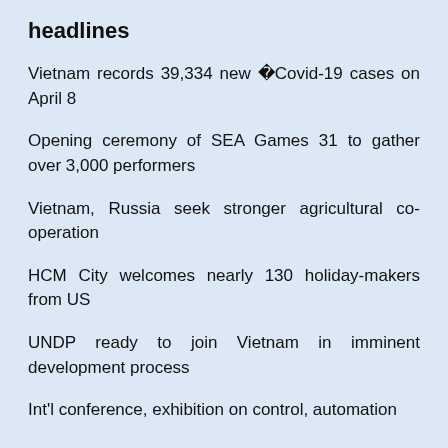headlines
Vietnam records 39,334 new �Covid-19 cases on April 8
Opening ceremony of SEA Games 31 to gather over 3,000 performers
Vietnam, Russia seek stronger agricultural co-operation
HCM City welcomes nearly 130 holiday-makers from US
UNDP ready to join Vietnam in imminent development process
Int'l conference, exhibition on control, automation